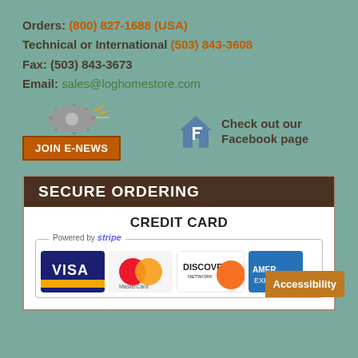Orders: (800) 827-1688 (USA)
Technical or International (503) 843-3608
Fax: (503) 843-3673
Email: sales@loghomestore.com
[Figure (infographic): JOIN E-NEWS button with saw blade graphic and Facebook page link with house/F icon]
SECURE ORDERING
CREDIT CARD
[Figure (infographic): Stripe-powered payment logos: Visa, MasterCard, Discover Network, American Express, with Accessibility badge]